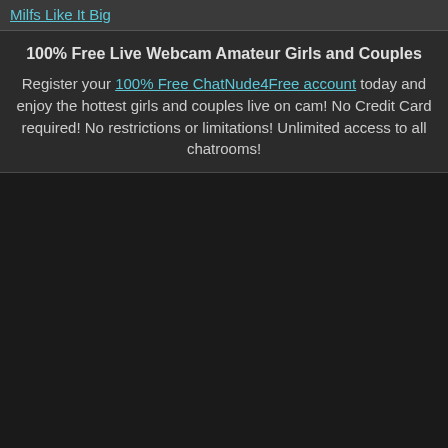Milfs Like It Big
100% Free Live Webcam Amateur Girls and Couples
Register your 100% Free ChatNude4Free account today and enjoy the hottest girls and couples live on cam! No Credit Card required! No restrictions or limitations! Unlimited access to all chatrooms!
[Figure (other): Large dark/black rectangular area filling the lower portion of the page, likely a placeholder for an embedded video or webcam feed.]